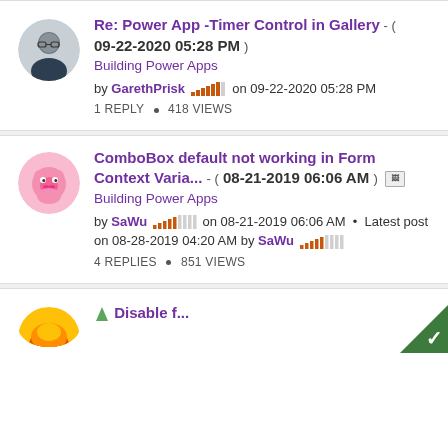Re: Power App -Timer Control in Gallery - ( 09-22-2020 05:28 PM ) Building Power Apps by GarethPrisk on 09-22-2020 05:28 PM 1 REPLY • 418 VIEWS
ComboBox default not working in Form Context Varia... - ( 08-21-2019 06:06 AM ) [image] Building Power Apps by SaWu on 08-21-2019 06:06 AM • Latest post on 08-28-2019 04:20 AM by SaWu 4 REPLIES • 851 VIEWS
(third post, partially visible)